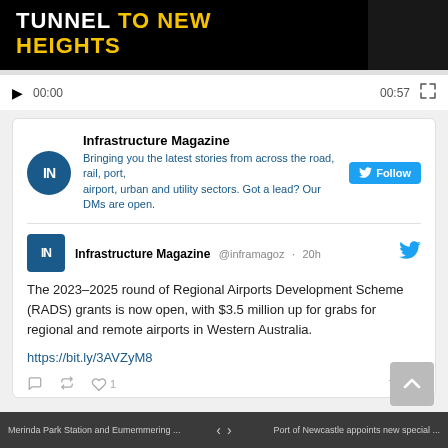[Figure (screenshot): Video player showing 'TUNNEL TO NEW HEIGHTS' title text, with playback controls showing 00:00 current time and 00:57 duration]
[Figure (screenshot): Twitter widget for Infrastructure Magazine with Follow button and bio: Bringing you the latest stories from across the road, rail, port, airport, urban and utility sectors. Got a lead? Our DMs are open.]
The 2023–2025 round of Regional Airports Development Scheme (RADS) grants is now open, with $3.5 million up for grabs for regional and remote airports in Western Australia.
https://bit.ly/3AVZyM8
Merinda Park Station and Eumemmering ...   Port of Newcastle appoints new special ...